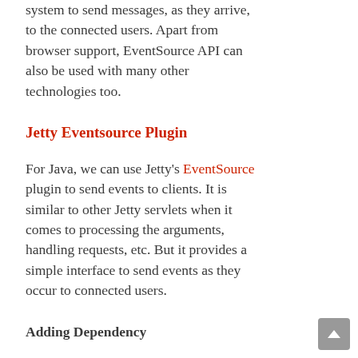system to send messages, as they arrive, to the connected users. Apart from browser support, EventSource API can also be used with many other technologies too.
Jetty Eventsource Plugin
For Java, we can use Jetty's EventSource plugin to send events to clients. It is similar to other Jetty servlets when it comes to processing the arguments, handling requests, etc. But it provides a simple interface to send events as they occur to connected users.
Adding Dependency